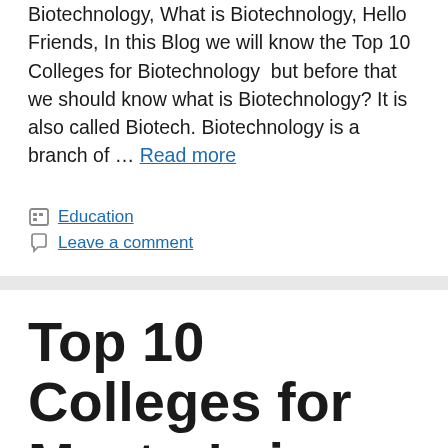Biotechnology, What is Biotechnology, Hello Friends, In this Blog we will know the Top 10 Colleges for Biotechnology  but before that we should know what is Biotechnology? It is also called Biotech. Biotechnology is a branch of … Read more
Education
Leave a comment
Top 10 Colleges for Master's in Economics